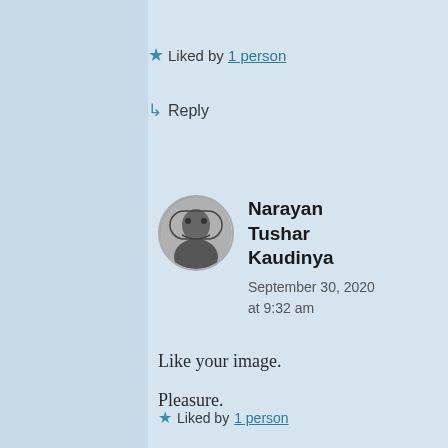★ Liked by 1 person
↳ Reply
Narayan Tushar Kaudinya
September 30, 2020 at 9:32 am
Like your image.

Pleasure.
★ Liked by 1 person